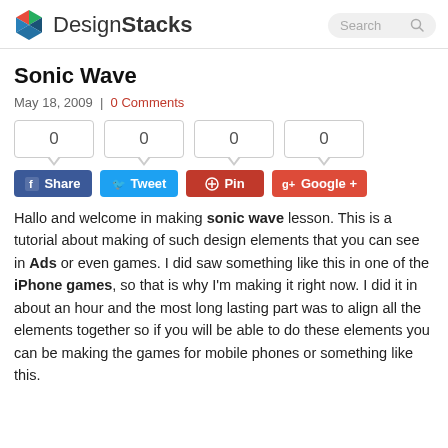DesignStacks
Sonic Wave
May 18, 2009  |  0 Comments
[Figure (other): Social share counter boxes showing 0 counts for Facebook, Twitter, Pinterest, Google+]
[Figure (other): Social share buttons: Share, Tweet, Pin, Google+]
Hallo and welcome in making sonic wave lesson. This is a tutorial about making of such design elements that you can see in Ads or even games. I did saw something like this in one of the iPhone games, so that is why I'm making it right now. I did it in about an hour and the most long lasting part was to align all the elements together so if you will be able to do these elements you can be making the games for mobile phones or something like this.